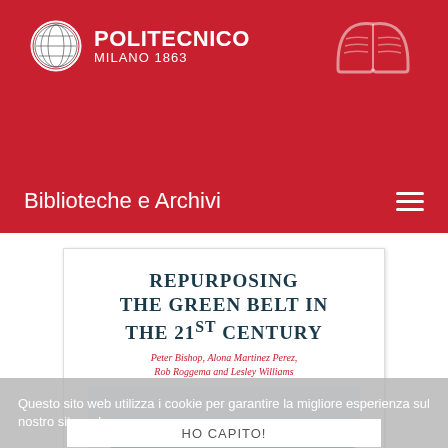[Figure (logo): Politecnico di Milano logo with circular emblem and text POLITECNICO MILANO 1863 on red background with open book icon]
Biblioteche e Archivi
[Figure (illustration): Book cover: Repurposing the Green Belt in the 21st Century by Peter Bishop, Alona Martinez Perez, Rob Roggema and Lesley Williams, with landscape illustration showing hills and green belt scenery]
Questo sito web utilizza i cookie per garantire la migliore esperienza sul nostro sito web.
HO CAPITO!